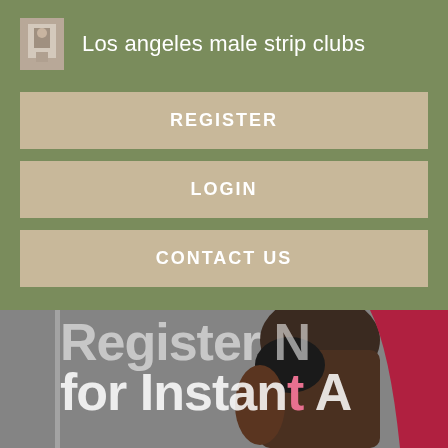Los angeles male strip clubs
REGISTER
LOGIN
CONTACT US
[Figure (photo): Partial view of a person in a red outfit with a black glove, raising their arm, overlaid with large white text reading 'Register N... for Instant A...']